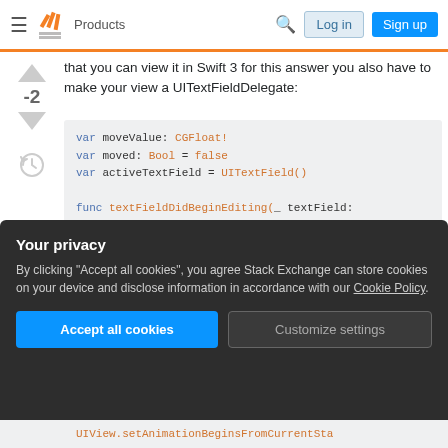≡  [Stack Overflow logo]  Products  🔍  Log in  Sign up
that you can view it in Swift 3 for this answer you also have to make your view a UITextFieldDelegate:
[Figure (screenshot): Swift code block showing: var moveValue: CGFloat!, var moved: Bool = false, var activeTextField = UITextField(), func textFieldDidBeginEditing(_ textField:, self.activeTextField = textField, }, func textFieldDidEndEditing(_ textField: UI, if moved == true{, self.animateViewMoving(up: false, moveV]
Your privacy
By clicking "Accept all cookies", you agree Stack Exchange can store cookies on your device and disclose information in accordance with our Cookie Policy.
Accept all cookies  Customize settings
UIView.setAnimationBeginsFromCurrentSta